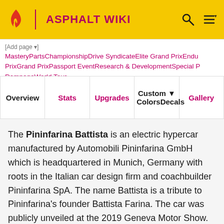ASPHALT WIKI
MasteryPartsChampionshipDrive SyndicateElite Grand PrixEndu PrixGrand PrixPassport EventResearch & DevelopmentSpecial P RampageWorld Tour
| Overview | Stats | Upgrades | Custom ▼ ColorsDecals | Gallery |
| --- | --- | --- | --- | --- |
|  |  |  |  |  |
The Pininfarina Battista is an electric hypercar manufactured by Automobili Pininfarina GmbH which is headquartered in Munich, Germany with roots in the Italian car design firm and coachbuilder Pininfarina SpA. The name Battista is a tribute to Pininfarina's founder Battista Farina. The car was publicly unveiled at the 2019 Geneva Motor Show.